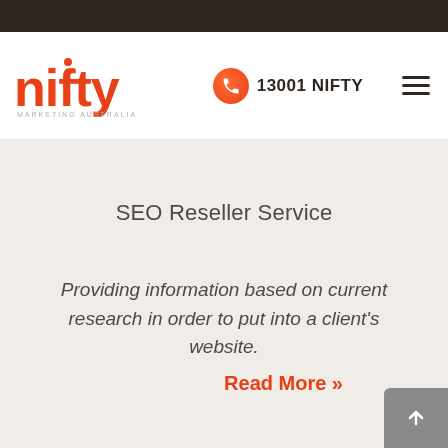[Figure (logo): Nifty Marketing Australia logo in orange/red with tagline MARKETING AUSTRALIA below]
13001 NIFTY
SEO Reseller Service
Providing information based on current research in order to put into a client's website.
Read More »